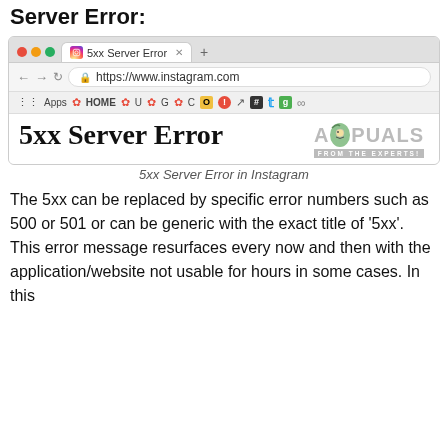Server Error:
[Figure (screenshot): Browser screenshot showing Instagram 5xx Server Error page with browser chrome including traffic lights, tab with Instagram icon, address bar showing https://www.instagram.com, bookmarks bar, and page content showing '5xx Server Error' heading with Appuals logo]
5xx Server Error in Instagram
The 5xx can be replaced by specific error numbers such as 500 or 501 or can be generic with the exact title of ‘5xx’. This error message resurfaces every now and then with the application/website not usable for hours in some cases. In this